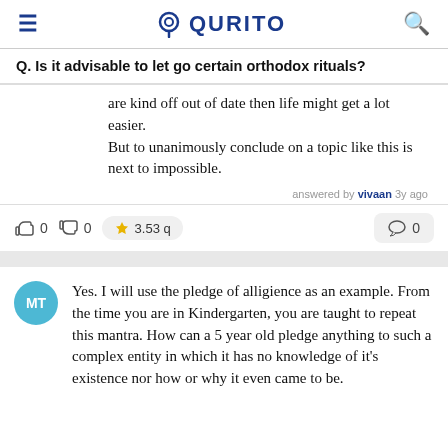≡  QURITO  🔍
Q. Is it advisable to let go certain orthodox rituals?
are kind off out of date then life might get a lot easier.
But to unanimously conclude on a topic like this is next to impossible.
answered by vivaan 3y ago
👍 0  👎 0  🏆 3.53 q  💬 0
Yes. I will use the pledge of alligience as an example. From the time you are in Kindergarten, you are taught to repeat this mantra. How can a 5 year old pledge anything to such a complex entity in which it has no knowledge of it's existence nor how or why it even came to be.